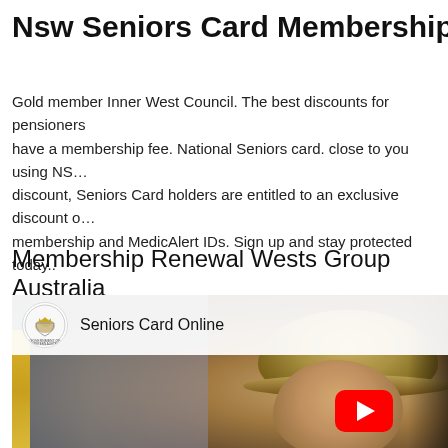Nsw Seniors Card Membership Applica…
Gold member Inner West Council. The best discounts for pensioners have a membership fee. National Seniors card. close to you using NS… discount, Seniors Card holders are entitled to an exclusive discount o… membership and MedicAlert IDs. Sign up and stay protected today..
Membership Renewal Wests Group Australia
[Figure (screenshot): YouTube video thumbnail showing an older man wearing a straw hat, with a Government of Western Australia logo and the title 'Seniors Card Online' in a white bar at the top of the video, and a red YouTube play button in the lower right area.]